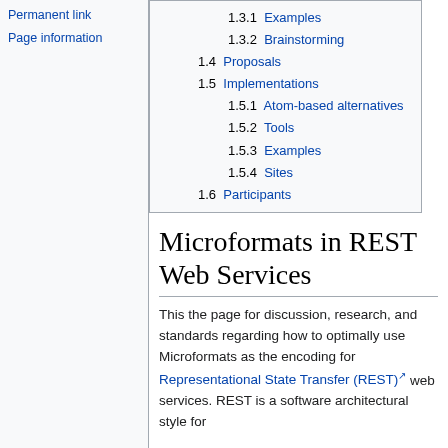Permanent link
Page information
1.3.1 Examples
1.3.2 Brainstorming
1.4 Proposals
1.5 Implementations
1.5.1 Atom-based alternatives
1.5.2 Tools
1.5.3 Examples
1.5.4 Sites
1.6 Participants
Microformats in REST Web Services
This the page for discussion, research, and standards regarding how to optimally use Microformats as the encoding for Representational State Transfer (REST) web services. REST is a software architectural style for